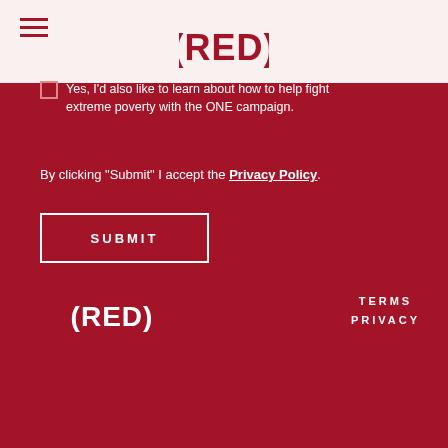[Figure (logo): (RED) logo in top navigation bar]
Yes, I'd also like to learn about how to help fight extreme poverty with the ONE campaign.
By clicking "Submit" I accept the Privacy Policy.
SUBMIT
[Figure (logo): (RED) footer logo]
TERMS
PRIVACY